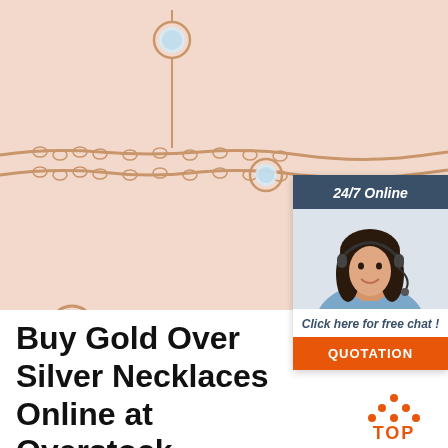[Figure (photo): Close-up photo of a rose gold chain necklace/bracelet with small diamond/crystal bezel-set pendants on a light pink background]
[Figure (infographic): 24/7 Online customer support chat widget with a smiling woman wearing a headset, 'Click here for free chat!' text, and an orange QUOTATION button]
Buy Gold Over Silver Necklaces Online at Overstock
Serafina 14K Gold Plated Over Sterling Silver Disk
[Figure (illustration): Orange 'TOP' back-to-top icon with upward arrow dots above the word TOP]